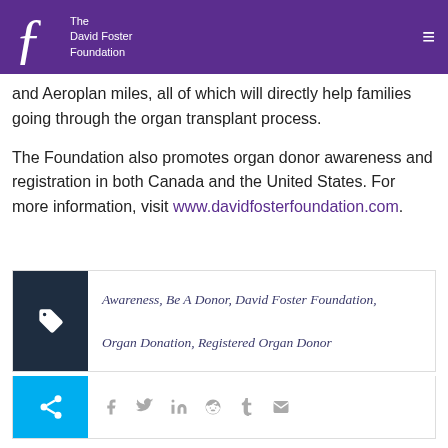The David Foster Foundation
and Aeroplan miles, all of which will directly help families going through the organ transplant process.
The Foundation also promotes organ donor awareness and registration in both Canada and the United States. For more information, visit www.davidfosterfoundation.com.
Awareness, Be A Donor, David Foster Foundation, Organ Donation, Registered Organ Donor